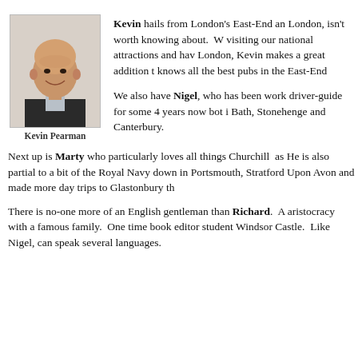[Figure (photo): Headshot of Kevin Pearman, a bald middle-aged man smiling, wearing a dark jacket and light shirt.]
Kevin Pearman
Kevin hails from London's East-End and there isn't much about London, isn't worth knowing about. We have him assisting visiting our national attractions and having worked in London, Kevin makes a great addition to the team and knows all the best pubs in the East-End.
We also have Nigel, who has been working as a driver-guide for some 4 years now bot in and around Bath, Stonehenge and Canterbury.
Next up is Marty who particularly loves all things Churchill as He is also partial to a bit of the Royal Navy down in Portsmouth, Stratford Upon Avon and made more day trips to Glastonbury th
There is no-one more of an English gentleman than Richard. A aristocracy with a famous family. One time book editor student Windsor Castle. Like Nigel, can speak several languages.